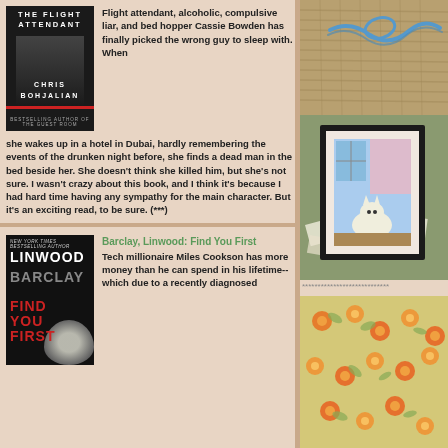[Figure (photo): Book cover: The Flight Attendant by Chris Bohjalian, dark cover with shadowy figure]
Flight attendant, alcoholic, compulsive liar, and bed hopper Cassie Bowden has finally picked the wrong guy to sleep with. When she wakes up in a hotel in Dubai, hardly remembering the events of the drunken night before, she finds a dead man in the bed beside her. She doesn't think she killed him, but she's not sure. I wasn't crazy about this book, and I think it's because I had hard time having any sympathy for the main character. But it's an exciting read, to be sure. (***)
[Figure (photo): Top right: burlap texture with blue thread/yarn]
[Figure (photo): Middle right: framed picture of a cat on green fabric background with scattered papers]
****************************
[Figure (photo): Book cover: Find You First by Linwood Barclay, dark cover with eye image]
Barclay, Linwood: Find You First
Tech millionaire Miles Cookson has more money than he can spend in his lifetime--which due to a recently diagnosed
[Figure (photo): Bottom right: floral fabric with orange/yellow flowers on light background]